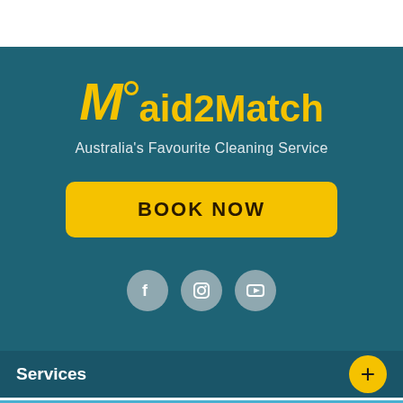[Figure (logo): Maid2Match logo in yellow on teal background]
Australia's Favourite Cleaning Service
BOOK NOW
[Figure (infographic): Social media icons: Facebook, Instagram, YouTube]
Services